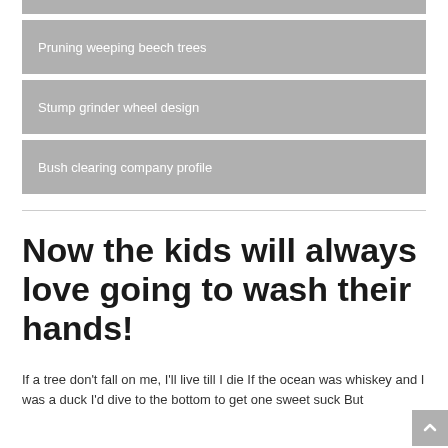Pruning weeping beech trees
Stump grinder wheel design
Bush clearing company profile
Now the kids will always love going to wash their hands!
If a tree don't fall on me, I'll live till I die If the ocean was whiskey and I was a duck I'd dive to the bottom to get one sweet suck But